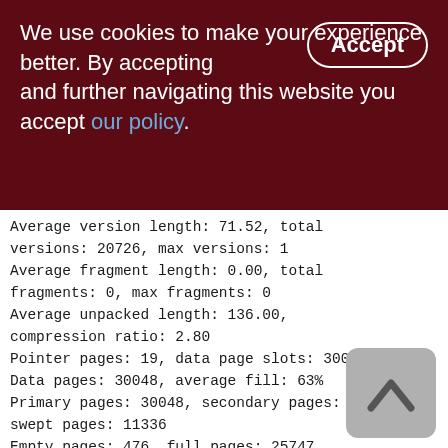We use cookies to make your experience better. By accepting and further navigating this website you accept our policy.
Average version length: 71.52, total versions: 20726, max versions: 1
Average fragment length: 0.00, total fragments: 0, max fragments: 0
Average unpacked length: 136.00, compression ratio: 2.80
Pointer pages: 19, data page slots: 30088
Data pages: 30048, average fill: 63%
Primary pages: 30048, secondary pages: 0, swept pages: 11336
Empty pages: 476, full pages: 25747
Fill distribution:
0 - 19% = 763